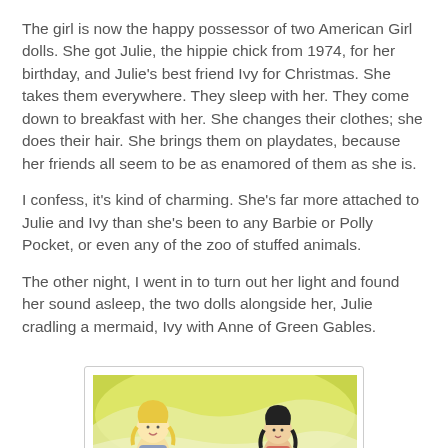The girl is now the happy possessor of two American Girl dolls.  She got Julie, the hippie chick from 1974, for her birthday, and Julie's best friend Ivy for Christmas.  She takes them everywhere. They sleep with her. They come down to breakfast with her. She changes their clothes; she does their hair. She brings them on playdates, because her friends all seem to be as enamored of them as she is.
I confess, it's kind of charming. She's far more attached to Julie and Ivy than she's been to any Barbie or Polly Pocket, or even any of the zoo of stuffed animals.
The other night, I went in to turn out her light and found her sound asleep, the two dolls alongside her, Julie cradling a mermaid, Ivy with Anne of Green Gables.
[Figure (photo): A photo showing two American Girl dolls lying in bed with green/yellow bedding, one doll with blonde hair and one with dark hair]